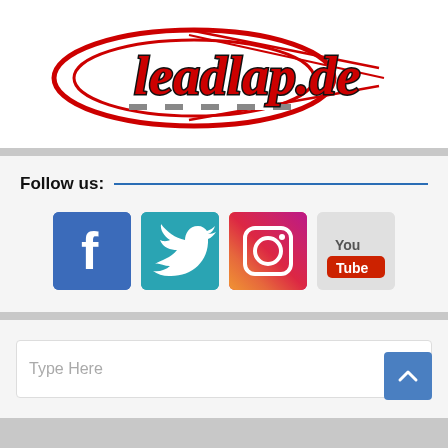[Figure (logo): leadlap.de logo with red racing oval/speedlines and script text on white background]
Follow us:
[Figure (infographic): Four social media icons: Facebook (blue crinkled paper f), Twitter (teal crinkled paper bird), Instagram (gradient camera icon), YouTube (grey YouТube logo)]
[Figure (screenshot): Search bar with 'Type Here' placeholder text and magnifying glass icon, plus a blue scroll-to-top button with chevron]